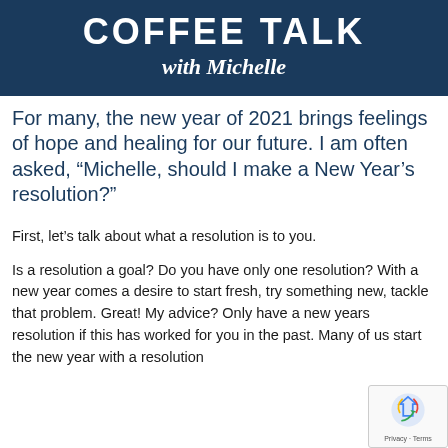[Figure (illustration): Dark navy blue banner with 'COFFEE TALK with Michelle' text in white]
For many, the new year of 2021 brings feelings of hope and healing for our future. I am often asked, “Michelle, should I make a New Year’s resolution?”
First, let’s talk about what a resolution is to you.
Is a resolution a goal? Do you have only one resolution? With a new year comes a desire to start fresh, try something new, tackle that problem. Great! My advice? Only have a new years resolution if this has worked for you in the past. Many of us start the new year with a resolution that has never really lived up to be what it’s...